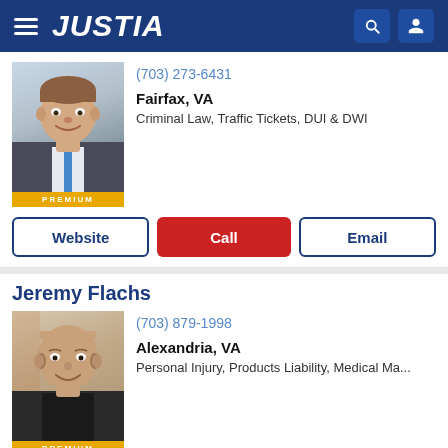JUSTIA
[Figure (photo): Headshot of young male attorney in suit and blue tie]
(703) 273-6431
Fairfax, VA
Criminal Law, Traffic Tickets, DUI & DWI
PREMIUM
Website | Call | Email
Jeremy Flachs
[Figure (photo): Headshot of middle-aged bald male attorney smiling, wearing dark shirt]
(703) 879-1998
Alexandria, VA
Personal Injury, Products Liability, Medical Ma...
PREMIUM
Website | Call | Email